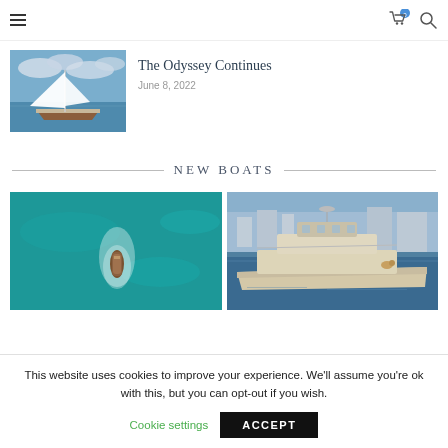Navigation bar with hamburger menu, cart icon (0), and search icon
[Figure (photo): White sailboat on blue water under cloudy sky, viewed from the side]
The Odyssey Continues
June 8, 2022
NEW BOATS
[Figure (photo): Aerial view of a small wooden boat on turquoise water]
[Figure (photo): Luxury motor yacht moored in a marina, viewed from above at an angle]
This website uses cookies to improve your experience. We'll assume you're ok with this, but you can opt-out if you wish.
Cookie settings   ACCEPT